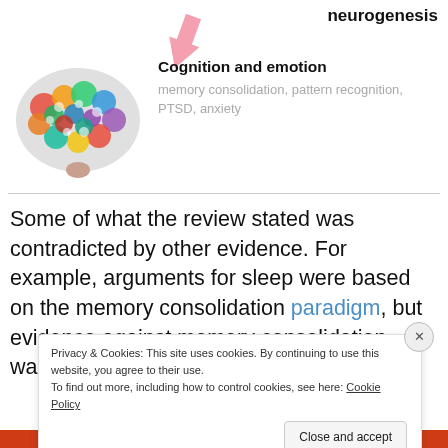[Figure (illustration): Colorful puzzle-piece brain illustration with a pink arrow pointing to it from above. Label 'neurogenesis' partially visible top right.]
Cognition and emotion
memory consolidation, pattern recognition,  PTSD, anxiety
Some of what the review stated was contradicted by other evidence. For example, arguments for sleep were based on the memory consolidation paradigm, but evidence against memory consolidation wasn't cited for
Privacy & Cookies: This site uses cookies. By continuing to use this website, you agree to their use.
To find out more, including how to control cookies, see here: Cookie Policy
Close and accept